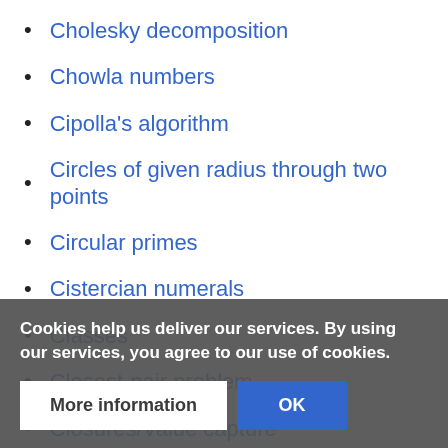Cholesky decomposition
Chowla numbers
Cipolla's algorithm
Circles of given radius through two points
Circular primes
Cistercian numerals
Classes
Closest-pair problem
Closures/Value capture
Collections
Color of a screen pixel
Color quantization
Colorful numbers
Cookies help us deliver our services. By using our services, you agree to our use of cookies.
More information
OK